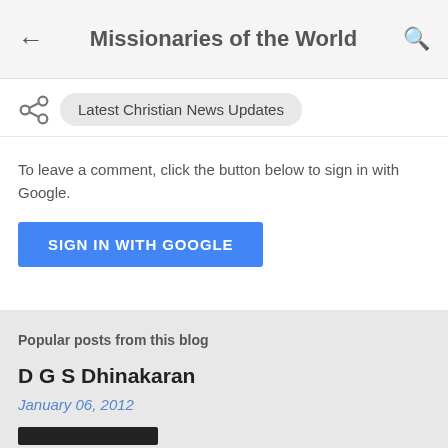Missionaries of the World
Latest Christian News Updates
To leave a comment, click the button below to sign in with Google.
SIGN IN WITH GOOGLE
Popular posts from this blog
D G S Dhinakaran
January 06, 2012